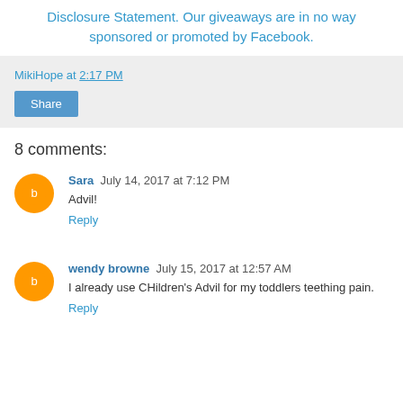Disclosure Statement. Our giveaways are in no way sponsored or promoted by Facebook.
MikiHope at 2:17 PM
Share
8 comments:
Sara  July 14, 2017 at 7:12 PM
Advil!
Reply
wendy browne  July 15, 2017 at 12:57 AM
I already use CHildren's Advil for my toddlers teething pain.
Reply